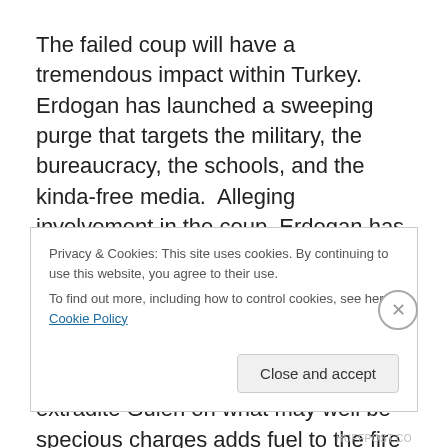The failed coup will have a tremendous impact within Turkey.  Erdogan has launched a sweeping purge that targets the military, the bureaucracy, the schools, and the kinda-free media.  Alleging involvement in the coup, Erdogan has either dismissed from employment or arrested thousands of people.  He has bruited it about that his one-time ally Fethullah Gulen conspired in the coup.  The American reluctance to extradite Gulen on what may well be specious charges adds fuel to the fire of Erdogan's
Privacy & Cookies: This site uses cookies. By continuing to use this website, you agree to their use.
To find out more, including how to control cookies, see here: Cookie Policy
Close and accept